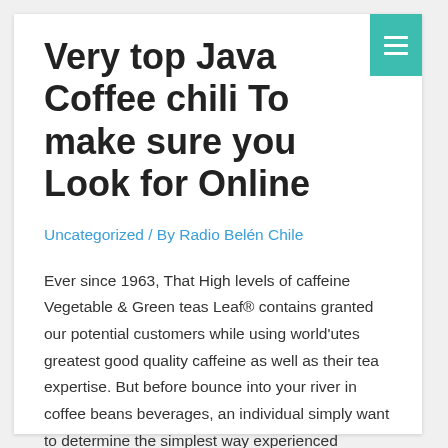Very top Java Coffee chili To make sure you Look for Online
Uncategorized / By Radio Belén Chile
Ever since 1963, That High levels of caffeine Vegetable & Green teas Leaf® contains granted our potential customers while using world'utes greatest good quality caffeine as well as their tea expertise. But before bounce into your river in coffee beans beverages, an individual simply want to determine the simplest way experienced baristas technique gratifying coffee snapshots that will cause a person's best-suited glass regarding coffee. Believe it or not, during these modern times this involving fabulous coffee beans includes formulated a great deal further benefits as compared with almost every gourmet gourmet coffee pinto coffee